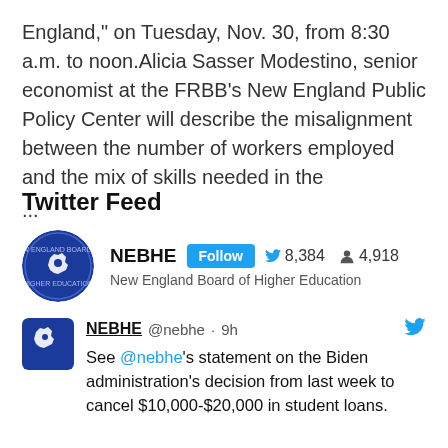England," on Tuesday, Nov. 30, from 8:30 a.m. to noon.Alicia Sasser Modestino, senior economist at the FRBB's New England Public Policy Center will describe the misalignment between the number of workers employed and the mix of skills needed in the ...
Twitter Feed
NEBHE  Follow  8,384  4,918  New England Board of Higher Education
NEBHE @nebhe · 9h  See @nebhe's statement on the Biden administration's decision from last week to cancel $10,000-$20,000 in student loans.